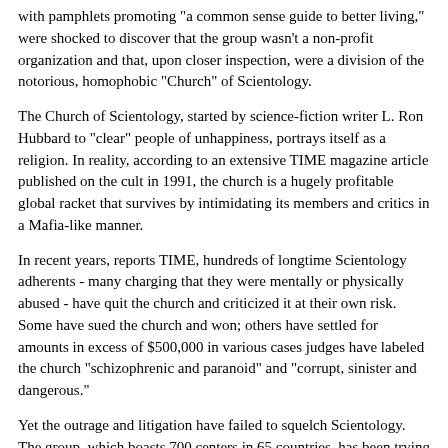with pamphlets promoting "a common sense guide to better living," were shocked to discover that the group wasn't a non-profit organization and that, upon closer inspection, were a division of the notorious, homophobic "Church" of Scientology.
The Church of Scientology, started by science-fiction writer L. Ron Hubbard to "clear" people of unhappiness, portrays itself as a religion. In reality, according to an extensive TIME magazine article published on the cult in 1991, the church is a hugely profitable global racket that survives by intimidating its members and critics in a Mafia-like manner.
In recent years, reports TIME, hundreds of longtime Scientology adherents - many charging that they were mentally or physically abused - have quit the church and criticized it at their own risk. Some have sued the church and won; others have settled for amounts in excess of $500,000 in various cases judges have labeled the church "schizophrenic and paranoid" and "corrupt, sinister and dangerous."
Yet the outrage and litigation have failed to squelch Scientology. The group, which boasts 700 centers in 65 countries, has been trying over the past few years to go mainstream, attracting the unwary through a wide array of front groups in such businesses as publishing, consulting, health care and even remedial education - such as the "Way to Happiness Foundation."